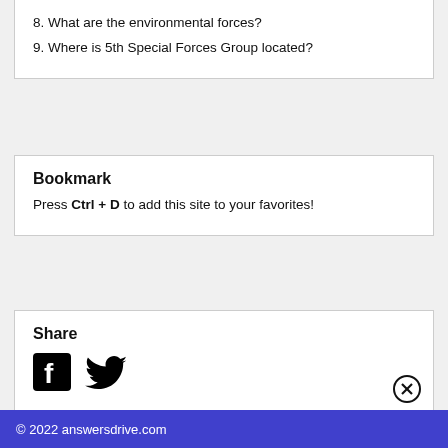8. What are the environmental forces?
9. Where is 5th Special Forces Group located?
Bookmark
Press Ctrl + D to add this site to your favorites!
Share
[Figure (logo): Facebook and Twitter social media icons]
[Figure (other): Close/X button icon]
© 2022 answersdrive.com